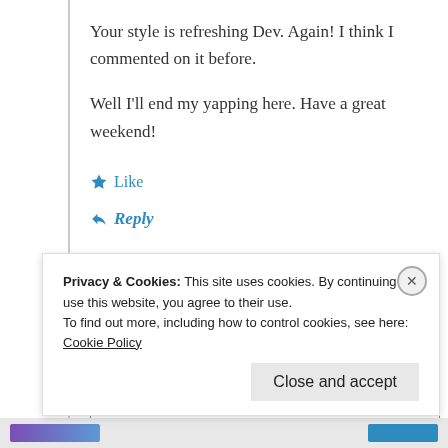Your style is refreshing Dev. Again! I think I commented on it before.
Well I'll end my yapping here. Have a great weekend!
★ Like
↳ Reply
[Figure (screenshot): Comment text input box with teal/green border]
Privacy & Cookies: This site uses cookies. By continuing to use this website, you agree to their use.
To find out more, including how to control cookies, see here: Cookie Policy
Close and accept